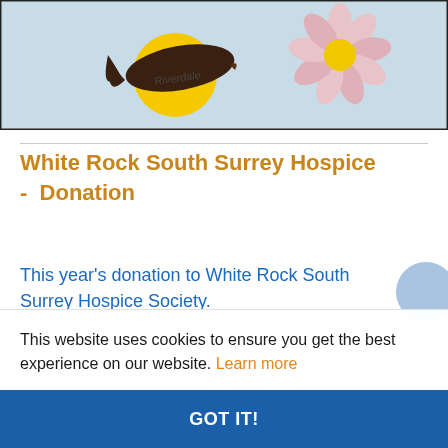[Figure (illustration): Child's hand-drawn artwork showing a dark bird/whale over a yellow sun with 'Riverdale' written on it, and a pink daisy/flower on the right side, on a light blue background]
White Rock South Surrey Hospice - Donation
This year's donation to White Rock South Surrey Hospice Society.
This website uses cookies to ensure you get the best experience on our website. Learn more
GOT IT!